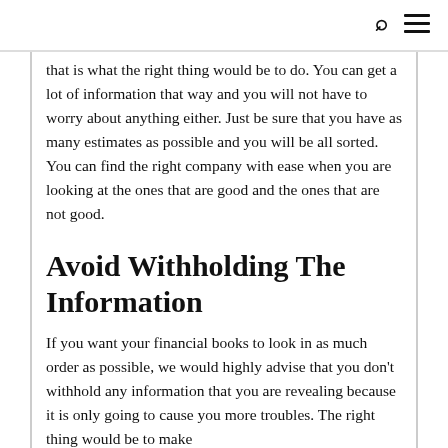that is what the right thing would be to do. You can get a lot of information that way and you will not have to worry about anything either. Just be sure that you have as many estimates as possible and you will be all sorted. You can find the right company with ease when you are looking at the ones that are good and the ones that are not good.
Avoid Withholding The Information
If you want your financial books to look in as much order as possible, we would highly advise that you don't withhold any information that you are revealing because it is only going to cause you more troubles. The right thing would be to make